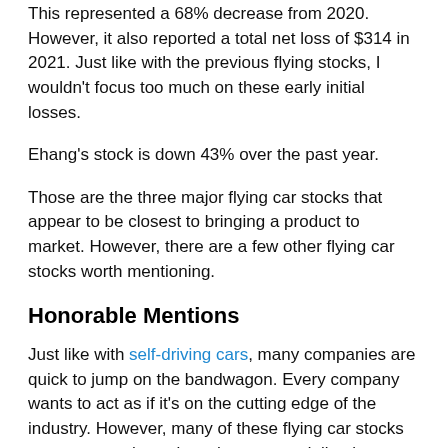This represented a 68% decrease from 2020. However, it also reported a total net loss of $314 in 2021. Just like with the previous flying stocks, I wouldn't focus too much on these early initial losses.
Ehang's stock is down 43% over the past year.
Those are the three major flying car stocks that appear to be closest to bringing a product to market. However, there are a few other flying car stocks worth mentioning.
Honorable Mentions
Just like with self-driving cars, many companies are quick to jump on the bandwagon. Every company wants to act as if it's on the cutting edge of the industry. However, many of these flying car stocks are vague on how close they are on delivering on its promises.
Subscribe